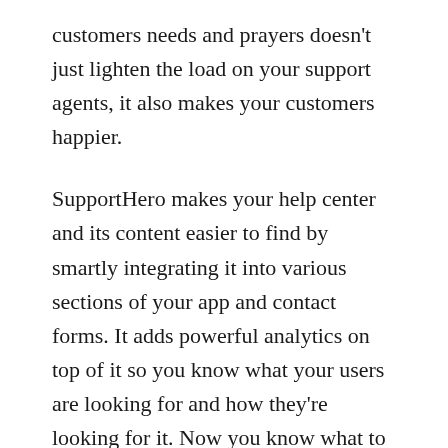customers needs and prayers doesn't just lighten the load on your support agents, it also makes your customers happier.
SupportHero makes your help center and its content easier to find by smartly integrating it into various sections of your app and contact forms. It adds powerful analytics on top of it so you know what your users are looking for and how they're looking for it. Now you know what to write, what to rewrite and what keywords you need to use.
No more guesswork.
Oh, and it integrates with everything.